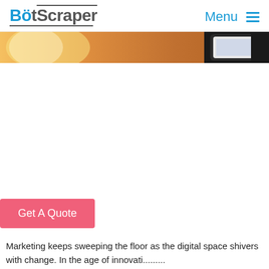BotScraper  Menu
[Figure (photo): Partial hero image showing a warm blurred bokeh background with an orange/golden light glow on the left side and a dark smartphone device visible on the right side]
[Figure (other): Get A Quote pink/coral CTA button]
Marketing keeps sweeping the floor as the digital space shivers with change. In the age of innovati.........